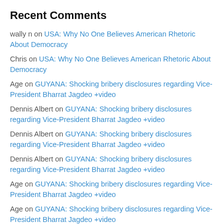Recent Comments
wally n on USA: Why No One Believes American Rhetoric About Democracy
Chris on USA: Why No One Believes American Rhetoric About Democracy
Age on GUYANA: Shocking bribery disclosures regarding Vice-President Bharrat Jagdeo +video
Dennis Albert on GUYANA: Shocking bribery disclosures regarding Vice-President Bharrat Jagdeo +video
Dennis Albert on GUYANA: Shocking bribery disclosures regarding Vice-President Bharrat Jagdeo +video
Dennis Albert on GUYANA: Shocking bribery disclosures regarding Vice-President Bharrat Jagdeo +video
Age on GUYANA: Shocking bribery disclosures regarding Vice-President Bharrat Jagdeo +video
Age on GUYANA: Shocking bribery disclosures regarding Vice-President Bharrat Jagdeo +video
Age on GUYANA: Shocking bribery disclosures regarding Vice-President Bharrat Jagdeo +video